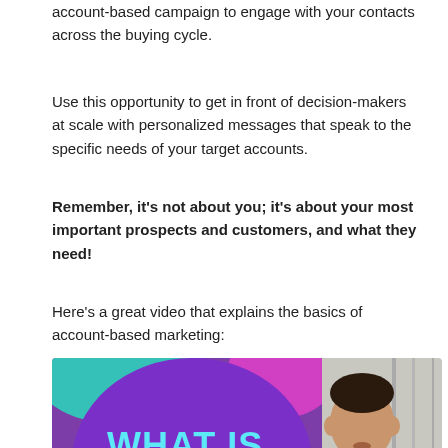account-based campaign to engage with your contacts across the buying cycle.
Use this opportunity to get in front of decision-makers at scale with personalized messages that speak to the specific needs of your target accounts.
Remember, it's not about you; it's about your most important prospects and customers, and what they need!
Here's a great video that explains the basics of account-based marketing:
[Figure (photo): Video thumbnail showing a purple circle graphic with text 'WHAT IS ABM?' on the left, and a person (Asian man) on the right side speaking, with a city background.]